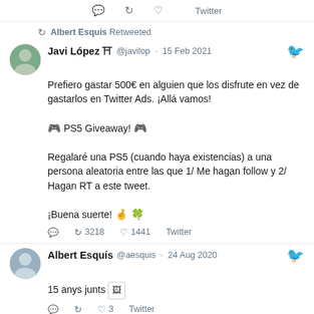Twitter (top action bar)
🔁 Albert Esquis Retweeted
Javi López 🏯 @javilop · 15 Feb 2021
Prefiero gastar 500€ en alguien que los disfrute en vez de gastarlos en Twitter Ads. ¡Allá vamos!

🎮 PS5 Giveaway! 🎮

Regalaré una PS5 (cuando haya existencias) a una persona aleatoria entre las que 1/ Me hagan follow y 2/ Hagan RT a este tweet.

¡Buena suerte! 🤞 🍀
🔁 3218  ♡ 1441  Twitter
Albert Esquís @aesquis · 24 Aug 2020
15 anys junts 🖼
🔁  ♡ 3  Twitter